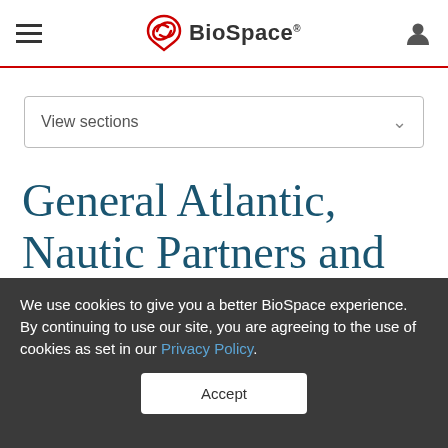BioSpace
View sections
General Atlantic, Nautic Partners and The Vistria Group Announce
We use cookies to give you a better BioSpace experience. By continuing to use our site, you are agreeing to the use of cookies as set in our Privacy Policy.